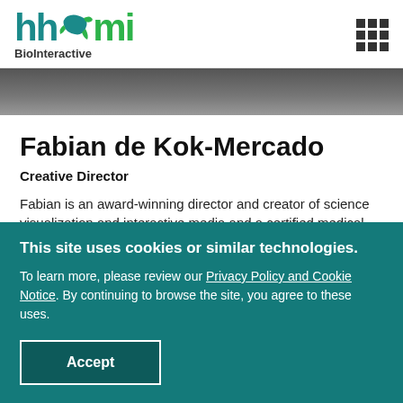[Figure (logo): HHMI BioInteractive logo with teal 'hh' and green 'mi' letters and lizard graphic, with 'BioInteractive' text below]
[Figure (photo): Partial photo of a person wearing dark clothing, cropped at top]
Fabian de Kok-Mercado
Creative Director
Fabian is an award-winning director and creator of science visualization and interactive media and a certified medical illustrator. He directs the production of
This site uses cookies or similar technologies. To learn more, please review our Privacy Policy and Cookie Notice. By continuing to browse the site, you agree to these uses.
Accept